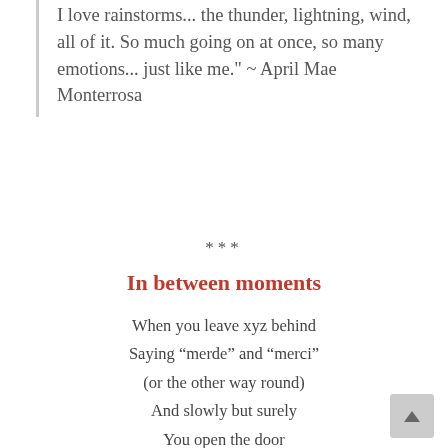I love rainstorms... the thunder, lightning, wind, all of it. So much going on at once, so many emotions... just like me." ~ April Mae Monterrosa
***
In between moments
When you leave xyz behind
Saying “merde” and “merci”
(or the other way round)
And slowly but surely
You open the door
To the wild emptiness
Where there is no thing
Only nothing
Pure being
No projects, no intention, no tension